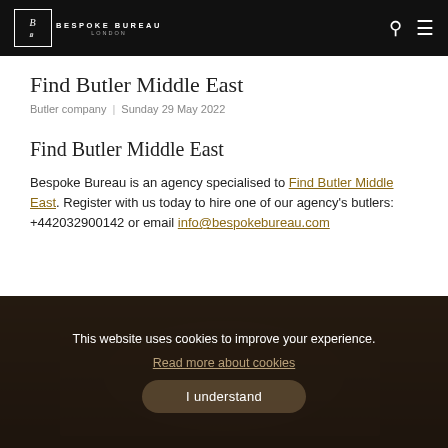Bespoke Bureau London — navigation header with logo, search and menu icons
Find Butler Middle East
Butler company | Sunday 29 May 2022
Find Butler Middle East
Bespoke Bureau is an agency specialised to Find Butler Middle East. Register with us today to hire one of our agency's butlers: +442032900142 or email info@bespokebureau.com
[Figure (photo): Partially visible background photo at bottom of page, showing dark warm tones suggesting a butler or hospitality setting]
This website uses cookies to improve your experience. Read more about cookies
I understand